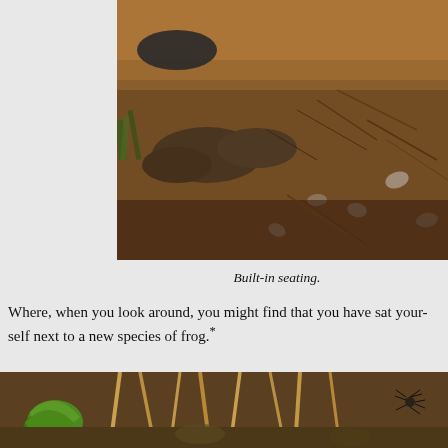[Figure (photo): Forest floor scene with dark rocks, dried pine needles, fallen leaves, and sparse green grass. Dark wet rocks are prominent in the center-left.]
Built-in seating.
Where, when you look around, you might find that you have sat your-self next to a new species of frog.*
[Figure (photo): Close-up of forest floor with a green leafy plant on the left, dried tan grass stalks, rocky soil, and what appears to be a spider on the right side.]